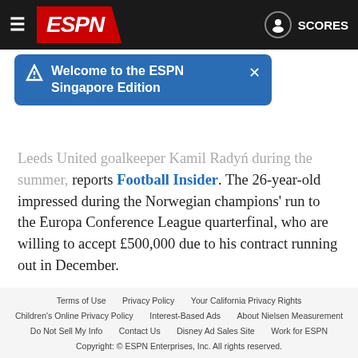ESPN — SCORES
[Figure (screenshot): ESPN notification banner: 'Welcome to the ESPN Singapore Edition' with close button]
Leeds United goalkeeper Kamil Radyń during the summer, reports Football Insider. The 26-year-old impressed during the Norwegian champions' run to the Europa Conference League quarterfinal, who are willing to accept £500,000 due to his contract running out in December.
[Figure (infographic): Social sharing buttons: Facebook (dark blue), Twitter (light blue), Messenger (dark blue), WhatsApp (green), Email (grey)]
You May Like   Sponsored by Taboola
[Figure (photo): Two promotional thumbnail images side by side]
Terms of Use  Privacy Policy  Your California Privacy Rights  Children's Online Privacy Policy  Interest-Based Ads  About Nielsen Measurement  Do Not Sell My Info  Contact Us  Disney Ad Sales Site  Work for ESPN  Copyright: © ESPN Enterprises, Inc. All rights reserved.